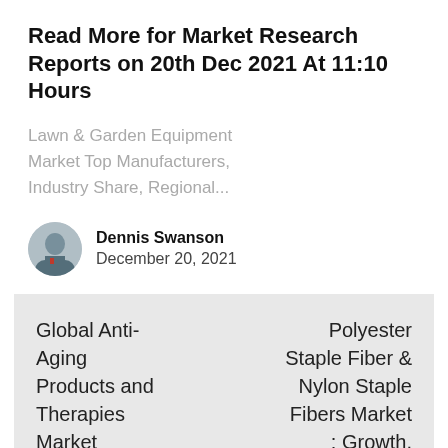Read More for Market Research Reports on 20th Dec 2021 At 11:10 Hours
Lawn & Garden Equipment Market Top Manufacturers, Industry Share, Regional...
Dennis Swanson
December 20, 2021
Global Anti-Aging Products and Therapies Market Outlook 2021-
Polyester Staple Fiber & Nylon Staple Fibers Market : Growth, Trends, COVID-19